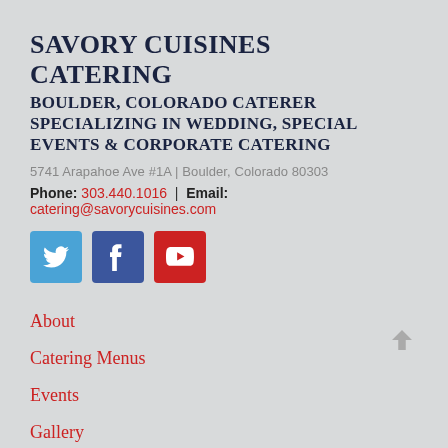SAVORY CUISINES CATERING
BOULDER, COLORADO CATERER SPECIALIZING IN WEDDING, SPECIAL EVENTS & CORPORATE CATERING
5741 Arapahoe Ave #1A | Boulder, Colorado 80303
Phone: 303.440.1016 | Email: catering@savorycuisines.com
[Figure (infographic): Three social media icon buttons: Twitter (blue), Facebook (dark blue), YouTube (red)]
About
Catering Menus
Events
Gallery
Blog